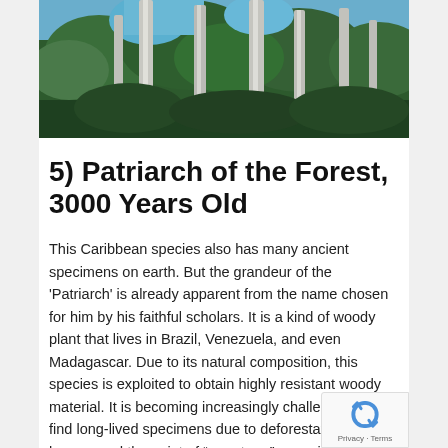[Figure (photo): Tall trees with white bare trunks in a dense forest with green canopy and blue sky visible above]
5) Patriarch of the Forest, 3000 Years Old
This Caribbean species also has many ancient specimens on earth. But the grandeur of the 'Patriarch' is already apparent from the name chosen for him by his faithful scholars. It is a kind of woody plant that lives in Brazil, Venezuela, and even Madagascar. Due to its natural composition, this species is exploited to obtain highly resistant woody material. It is becoming increasingly challenging to find long-lived specimens due to deforestation that has passed the point of "no return," especially in Brazil.